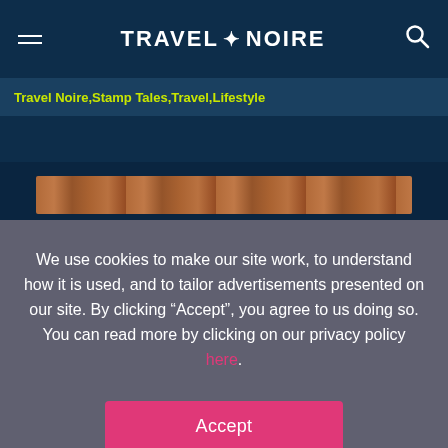TRAVEL+NOIRE
Travel Noire,Stamp Tales,Travel,Lifestyle
[Figure (photo): Partial view of a wooden/architectural structure with terracotta/brown tones against a dark blue background]
We use cookies to make our site work, to understand how it is used, and to tailor advertisements presented on our site. By clicking “Accept”, you agree to us doing so. You can read more by clicking on our privacy policy here.